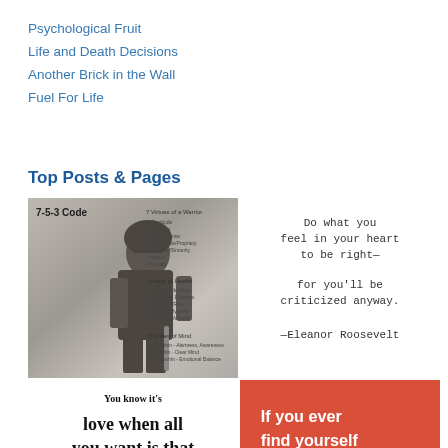Psychological Fruit
Life and Death Decisions
Another Brick in the Wall
Fuel For Life
Top Posts & Pages
[Figure (photo): 7-5-3 Code samurai warrior image with text listing 7 Virtues of a Warrior, 5 Keys to Health, and 5 States of Mind]
[Figure (photo): Handwritten quote: Do what you feel in your heart to be right— for you'll be criticized anyway. —Eleanor Roosevelt]
[Figure (photo): Text image starting with 'You know it's love when all you want is that person to be']
[Figure (photo): Red background card with white bold text 'If you ever find yourself']